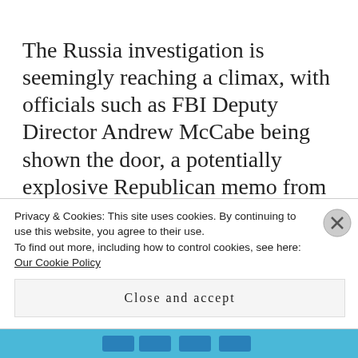The Russia investigation is seemingly reaching a climax, with officials such as FBI Deputy Director Andrew McCabe being shown the door, a potentially explosive Republican memo from the House Intelligence Committee causing tension between the White House and Justice Department, and reports that Trump himself has sought to push out
Privacy & Cookies: This site uses cookies. By continuing to use this website, you agree to their use.
To find out more, including how to control cookies, see here: Our Cookie Policy
Close and accept